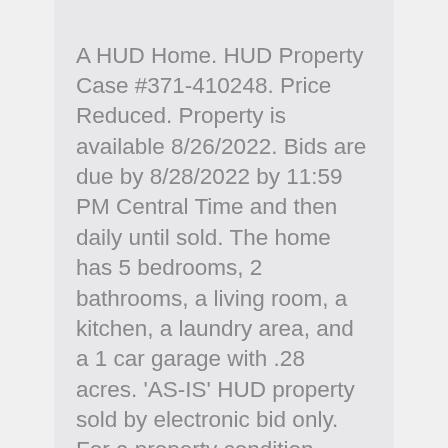A HUD Home. HUD Property Case #371-410248. Price Reduced. Property is available 8/26/2022. Bids are due by 8/28/2022 by 11:59 PM Central Time and then daily until sold. The home has 5 bedrooms, 2 bathrooms, a living room, a kitchen, a laundry area, and a 1 car garage with .28 acres. 'AS-IS' HUD property sold by electronic bid only. For a property condition report, forms, disclosures & availability visit the HUD Home Store. Buyer to verify all information. Agents must be a HUD registered broker to submit an offer at the HUD Home Store. View our 3D Virtual Tour of this home.